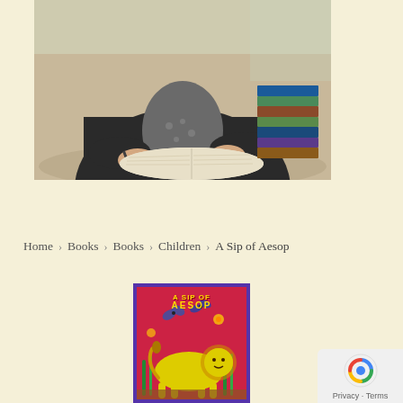[Figure (photo): Author photo: person in dark cardigan signing/writing in an open book at a table, with a stack of books visible to the right]
Home > Books > Books > Children > A Sip of Aesop
[Figure (illustration): Book cover of 'A Sip of Aesop' — colorful red/pink background with a stylized yellow lion, butterflies, and bold stylized title text in yellow, purple border]